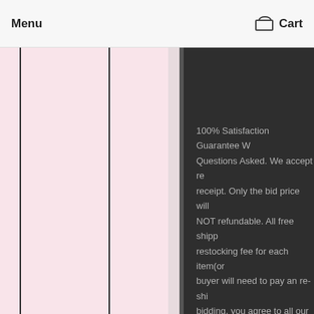Menu   Cart
[Figure (other): Pink panel with vertical divider lines on left side of page]
100% Satisfaction Guarantee W Questions Asked. We accept re receipt. Only the bid price will NOT refundable. All free shipp restocking fee for each item(or buyer will need to pay an re-shi bidding, you agree to all our te within 16calendar days after th automatically be in non-payme given up. We will then file a N result in you being suspended i Positive feedback is greatly app